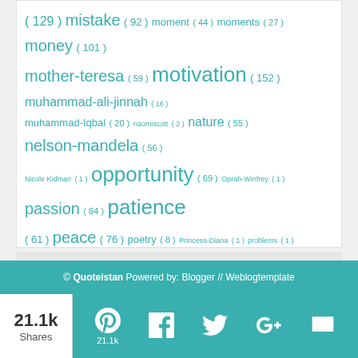[Figure (other): Tag cloud with topic keywords and their counts, displayed in varying font sizes proportional to frequency, all in teal/turquoise color on white background.]
© Quoteistan Powered by: Blogger // Weblogtemplate
21.1k Shares
21.1k (Pinterest share count)